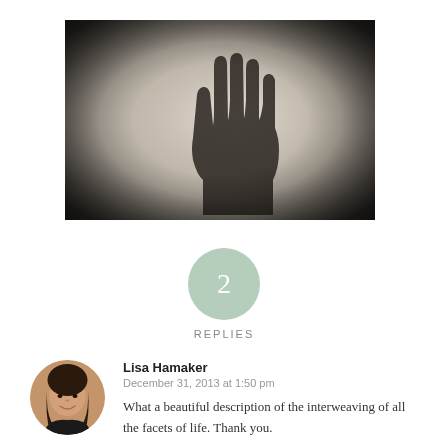[Figure (photo): Black and white photograph of a hand silhouette pressed against a frosted or foggy surface, fingers spread upward, dark vignette at corners]
2
REPLIES
Lisa Hamaker
December 31, 2013 at 1:50 pm
What a beautiful description of the interweaving of all the facets of life. Thank you.
Some Eastern practices talk about everything being perfect, even those
[Figure (photo): Circular avatar photo of a smiling woman with dark hair]